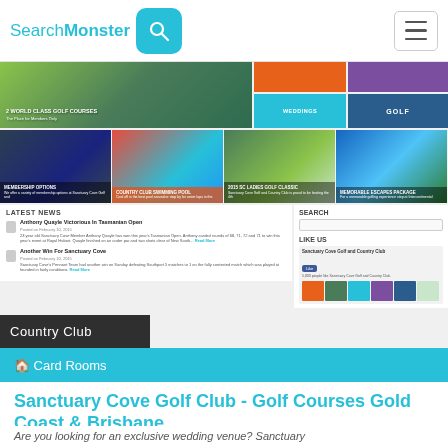SearchMonster [logo with search icon and hamburger menu]
[Figure (screenshot): Website screenshot of Sanctuary Cove Golf Club showing a golf course banner, colored category tiles (Weddings, Golf, orange, purple), four thumbnail images for Membership Options, Country Club Swimming Pool, 2015 SC Ladies Golf Classic, Memorable Escapes Package, latest news section with articles by Anthony Quayle and Another Win For Sanctuary Cove, and a Facebook sidebar.]
Country Club
Card Rooms
Sanctuary Cove Golf Club - Golf Courses Gold Coast & Brisbane
Are you looking for an exclusive wedding venue? Sanctuary